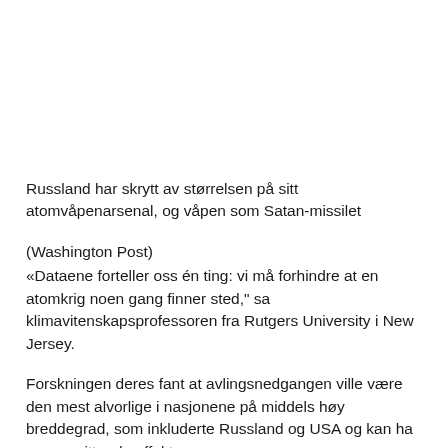Russland har skrytt av størrelsen på sitt atomvåpenarsenal, og våpen som Satan-missilet
(Washington Post)
«Dataene forteller oss én ting: vi må forhindre at en atomkrig noen gang finner sted," sa klimavitenskapsprofessoren fra Rutgers University i New Jersey.
Forskningen deres fant at avlingsnedgangen ville være den mest alvorlige i nasjonene på middels høy breddegrad, som inkluderte Russland og USA og kan ha en avsmittende effekt